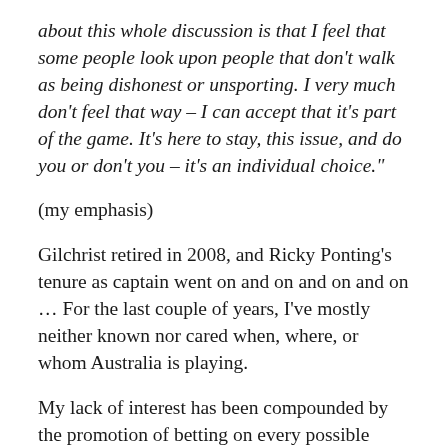about this whole discussion is that I feel that some people look upon people that don't walk as being dishonest or unsporting. I very much don't feel that way – I can accept that it's part of the game. It's here to stay, this issue, and do you or don't you – it's an individual choice."
(my emphasis)
Gilchrist retired in 2008, and Ricky Ponting's tenure as captain went on and on and on and on … For the last couple of years, I've mostly neither known nor cared when, where, or whom Australia is playing.
My lack of interest has been compounded by the promotion of betting on every possible